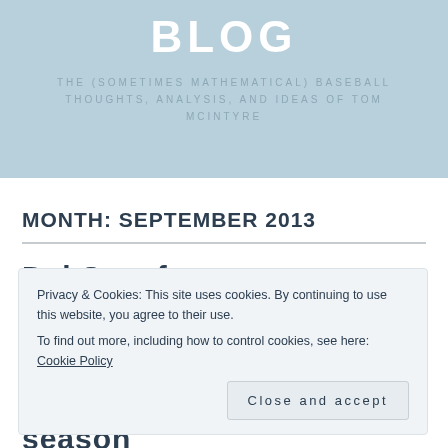BLOG
THE (SOMETIMES MATHEMATICAL) BASEBALL THOUGHTS, ANALYSIS, AND IDEAS OF TOM MCINTYRE
MONTH: SEPTEMBER 2013
Dal Sam fr...
Privacy & Cookies: This site uses cookies. By continuing to use this website, you agree to their use.
To find out more, including how to control cookies, see here: Cookie Policy
Close and accept
season